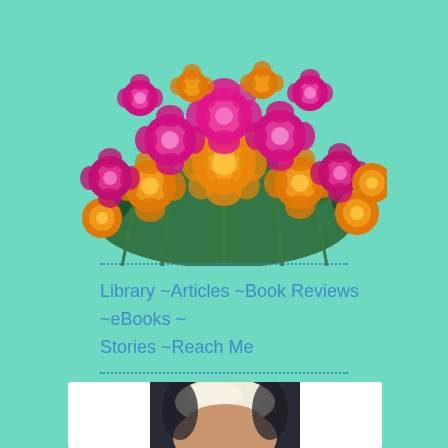[Figure (photo): A large bouquet of pink/magenta and orange roses with green leaves arranged as a banner image against a mint/teal green background.]
Library ~Articles ~Book Reviews ~eBooks ~
Stories ~Reach Me
[Figure (photo): A portrait photograph showing the top of a person's head with white/blonde hair against a dark background, partially visible at the bottom of the page.]